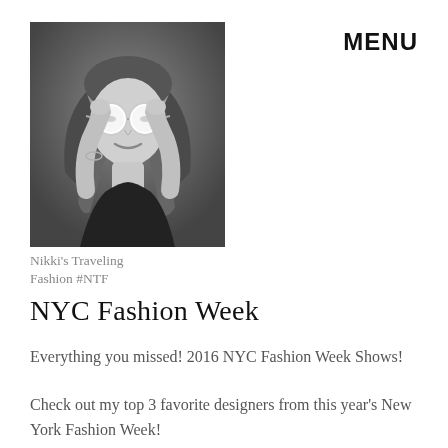[Figure (photo): Black and white fashion photo of a woman wearing round white sunglasses and a head scarf, hands raised near her face]
Nikki's Traveling Fashion #NTF
MENU
NYC Fashion Week
Everything you missed! 2016 NYC Fashion Week Shows!
Check out my top 3 favorite designers from this year's New York Fashion Week!